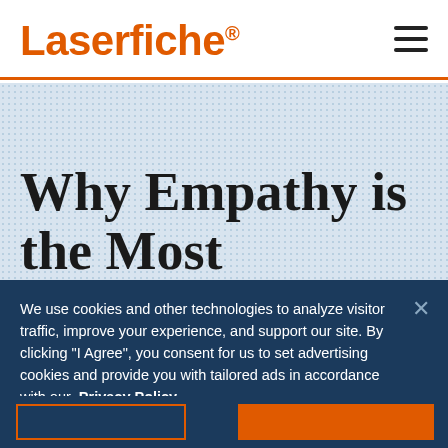Laserfiche
Why Empathy is the Most Important
We use cookies and other technologies to analyze visitor traffic, improve your experience, and support our site. By clicking "I Agree", you consent for us to set advertising cookies and provide you with tailored ads in accordance with our Privacy Policy.